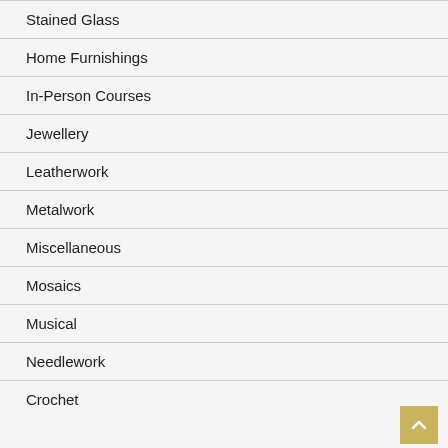Stained Glass
Home Furnishings
In-Person Courses
Jewellery
Leatherwork
Metalwork
Miscellaneous
Mosaics
Musical
Needlework
Crochet